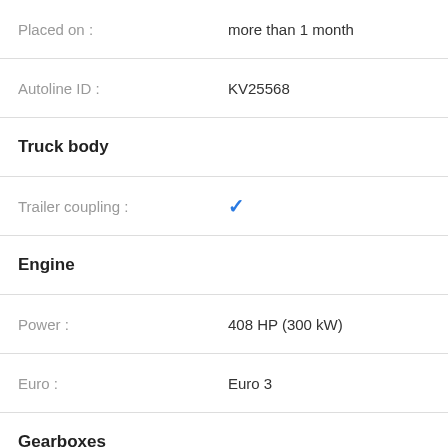Placed on : more than 1 month
Autoline ID : KV25568
Truck body
Trailer coupling : ✓
Engine
Power : 408 HP (300 kW)
Euro : Euro 3
Gearboxes
Brand : Semi-automatic
Type : automatic